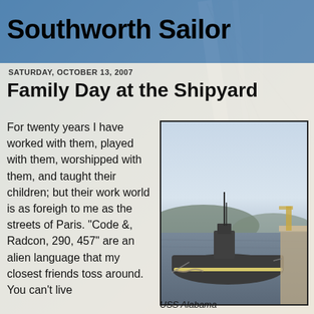Southworth Sailor
SATURDAY, OCTOBER 13, 2007
Family Day at the Shipyard
For twenty years I have worked with them, played with them, worshipped with them, and taught their children; but their work world is as foreigh to me as the streets of Paris. "Code &, Radcon, 290, 457" are an alien language that my closest friends toss around. You can't live
[Figure (photo): Photograph of a submarine (USS Alabama) docked at a shipyard pier, viewed from an angle showing the top and side of the hull.]
USS Alabama